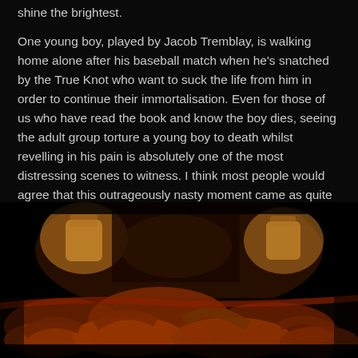shine the brightest.
One young boy, played by Jacob Tremblay, is walking home alone after his baseball match when he's snatched by the True Knot who want to suck the life from him in order to continue their immortalisation. Even for those of us who have read the book and know the boy dies, seeing the adult group torture a young boy to death whilst revelling in his pain is absolutely one of the most distressing scenes to witness. I think most people would agree that this outrageously nasty moment came as quite a shock, and is a very disturbing scene.
[Figure (photo): Dark moody scene in a dimly lit room with warm amber/red tones. Multiple figures appear crowded together on what seems to be furniture. Two lamps with warm yellow light visible in the background.]